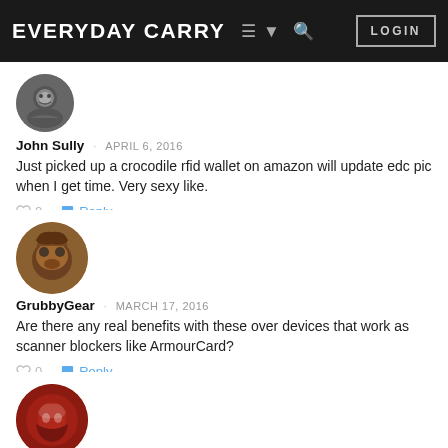EVERYDAY CARRY  LOGIN
John Sully · APRIL 6, 2016
Just picked up a crocodile rfid wallet on amazon will update edc pic when I get time. Very sexy like.
♡ 0  Reply
GrubbyGear · MARCH 17, 2016
Are there any real benefits with these over devices that work as scanner blockers like ArmourCard?
♡ 0  Reply
Simon grindrod · MARCH 13, 2016
Not readable in the...